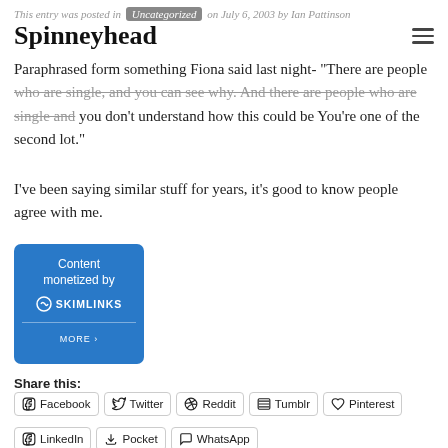This entry was posted in Uncategorized on July 6, 2003 by Ian Pattinson
Spinneyhead
Paraphrased form something Fiona said last night- "There are people who are single, and you can see why. And there are people who are single and you don't understand how this could be You're one of the second lot."
I've been saying similar stuff for years, it's good to know people agree with me.
[Figure (logo): Content monetized by SKIMLINKS banner with MORE link]
Share this:
Facebook  Twitter  Reddit  Tumblr  Pinterest  LinkedIn  Pocket  WhatsApp
Home, home on the Veldt